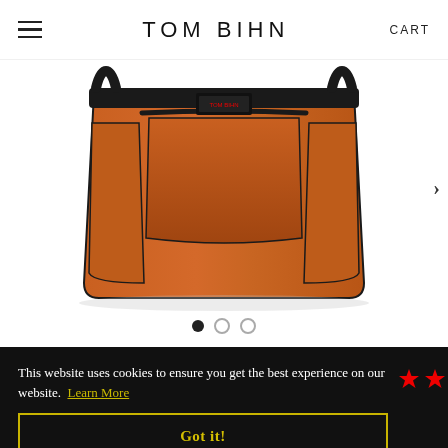[Figure (screenshot): Tom Bihn website header with hamburger menu on left, TOM BIHN logo in center, CART on right]
[Figure (photo): Orange/rust colored Tom Bihn tote bag with black trim and multiple external pockets, shown against white background]
[Figure (other): Three dot image carousel indicators, first dot filled/active, two empty circles]
This website uses cookies to ensure you get the best experience on our website. Learn More
Got it!